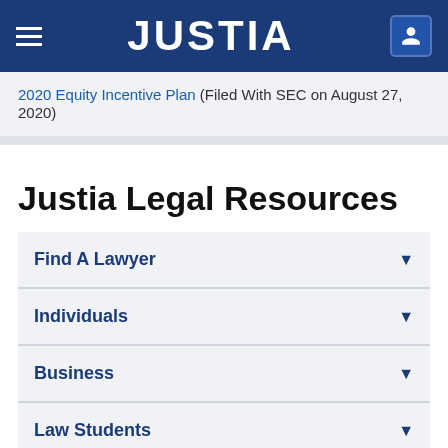JUSTIA
2020 Equity Incentive Plan (Filed With SEC on August 27, 2020)
Justia Legal Resources
Find A Lawyer
Individuals
Business
Law Students
US Federal Law